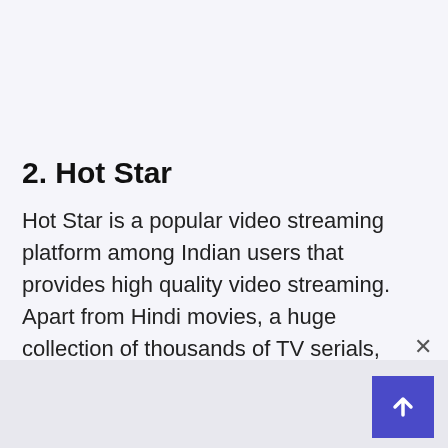2. Hot Star
Hot Star is a popular video streaming platform among Indian users that provides high quality video streaming. Apart from Hindi movies, a huge collection of thousands of TV serials, reality shows are available on this. On this you will not be able to miss even a single episode of your TV serial.